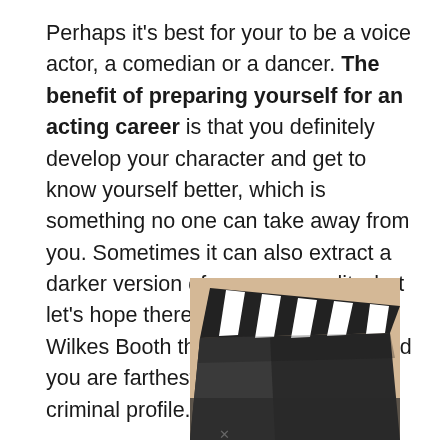Perhaps it's best for your to be a voice actor, a comedian or a dancer. The benefit of preparing yourself for an acting career is that you definitely develop your character and get to know yourself better, which is something no one can take away from you. Sometimes it can also extract a darker version of your personality, but let's hope there was only one John Wilkes Booth that history can take and you are farthest as possible from a criminal profile.
[Figure (photo): A close-up photo of a film clapperboard (slate) with black and white diagonal stripes, lying on a light beige/tan surface.]